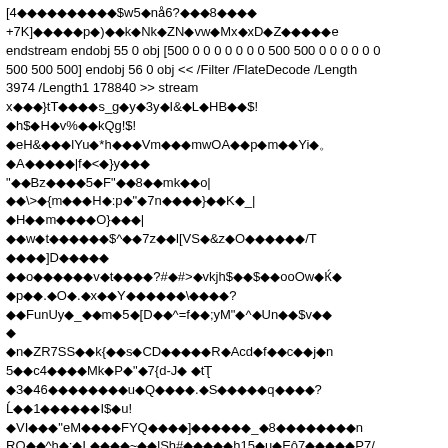[4�����������$w5�nå6?���8����
+7K]�����p�)��k�Nk�ZN�vw�Mx�xD�Z�����e
endstream endobj 55 0 obj [500 0 0 0 0 0 0 0 500 500 0 0 0 0 0 0
500 500 500] endobj 56 0 obj << /Filter /FlateDecode /Length
3974 /Length1 178840 >> stream
x���}tT����s_g�y�3y�I&�L�HB��$!
�h$�H�v%��kQg!$!
�eH&���lYu�*h���Vm���mwOA��p�m��Yi�。
�A�����|f�<�}y���
"��Bz����5�F"��8��mk��o|
��\>�{m���H�:p�"�7n����}��K�_|
�H��m����O}���|
��w�t������$^��7z��l[VS�&z�O������/T
����]D�����
��o������v�t����?#�#>�vkjh$��$��ooOw�Ќ�
�p��.�O�.�x��Y������\����?
��FunUy�_��m�5�[D��^=f��;yM"�^�Un��$v��
�
�n�ZR7SS��k{��s�CD�����R�Acd�f��c��j�n
5��c4����Mk�P�"�7{d-J� �tT
�3�46��������u�Q����.�S�����q����?
Ĺ��1������I$�u!
�VI���"eM����FYQ����]������_�8��������n
RQ��^h�:�L����~��lSh#�����h15�u�Eô7�����P7/